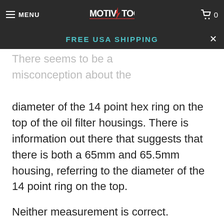MENU | MOTIV TOOLS | 0
FREE USA SHIPPING
There seems to be a misconception about the diameter of the 14 point hex ring on the top of the oil filter housings. There is information out there that suggests that there is both a 65mm and 65.5mm housing, referring to the diameter of the 14 point ring on the top.
Neither measurement is correct.
Both styles of oil filter